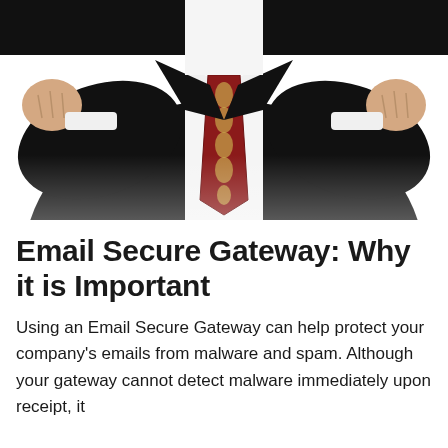[Figure (photo): A man in a dark suit and white shirt wearing a dark red/maroon tie with gold oval patterns, shown from chest up with arms raised/bent at the elbows, on a white background.]
Email Secure Gateway: Why it is Important
Using an Email Secure Gateway can help protect your company's emails from malware and spam. Although your gateway cannot detect malware immediately upon receipt, it